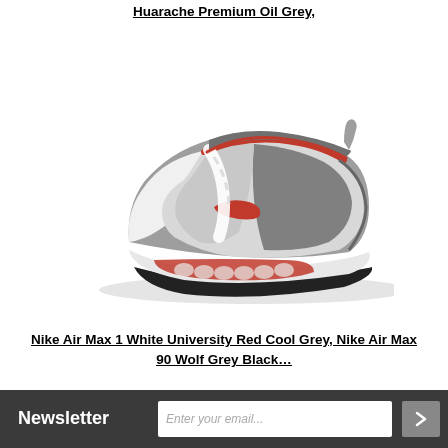Huarache Premium Oil Grey,
[Figure (photo): Nike Air Max 98 sneaker in white, grey, and red colorway, shown from the side, with visible Air cushioning unit in the sole.]
Nike Air Max 1 White University Red Cool Grey, Nike Air Max 90 Wolf Grey Black…
Newsletter  [email input box] [arrow button]